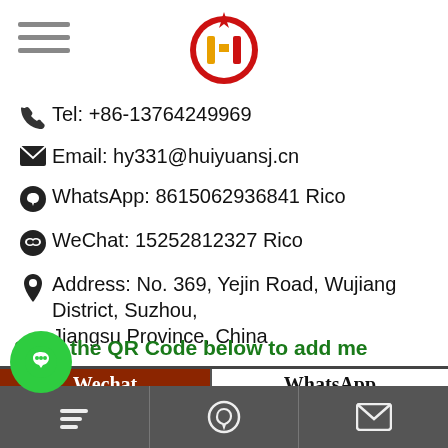[Figure (logo): Company logo: red circle with gold H letter and star on top, brand Huiyuan]
Tel: +86-13764249969
Email: hy331@huiyuansj.cn
WhatsApp: 8615062936841 Rico
WeChat: 15252812327 Rico
Address: No. 369, Yejin Road, Wujiang District, Suzhou, Jiangsu Province, China
Scan the QR Code below to add me
[Figure (other): WeChat QR code on brown/red background with Wechat label]
[Figure (other): WhatsApp QR code on white background with WhatsApp label]